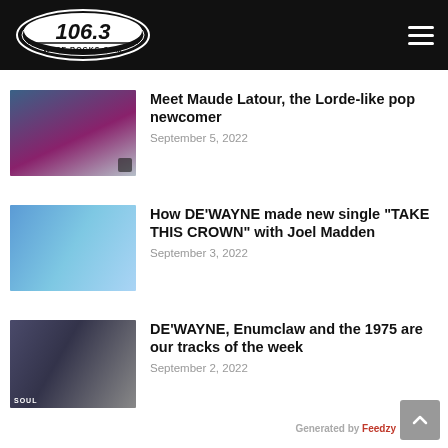106.3 WJSE ROCKS.COM
[Figure (photo): Thumbnail photo of Maude Latour, a blonde young woman underwater or with blue background]
Meet Maude Latour, the Lorde-like pop newcomer
September 5, 2022
[Figure (photo): Photo of DE'WAYNE sitting on a stool in white outfit against a blue background]
How DE'WAYNE made new single "TAKE THIS CROWN" with Joel Madden
September 3, 2022
[Figure (photo): Group photo of band members for the tracks of the week article, with SOUL watermark]
DE'WAYNE, Enumclaw and the 1975 are our tracks of the week
September 2, 2022
Generated by Feedzy